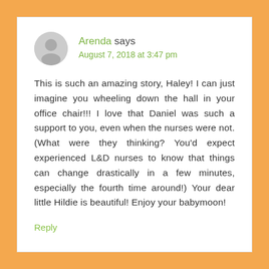Arenda says
August 7, 2018 at 3:47 pm
This is such an amazing story, Haley! I can just imagine you wheeling down the hall in your office chair!!! I love that Daniel was such a support to you, even when the nurses were not. (What were they thinking? You'd expect experienced L&D nurses to know that things can change drastically in a few minutes, especially the fourth time around!) Your dear little Hildie is beautiful! Enjoy your babymoon!
Reply